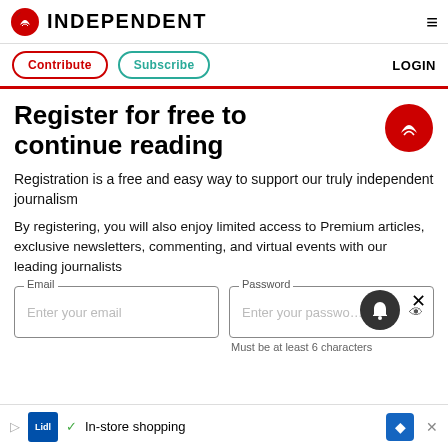INDEPENDENT
Contribute   Subscribe   LOGIN
Register for free to continue reading
Registration is a free and easy way to support our truly independent journalism
By registering, you will also enjoy limited access to Premium articles, exclusive newsletters, commenting, and virtual events with our leading journalists
Email
Enter your email
Password
Enter your password
Must be at least 6 characters
✓ In-store shopping